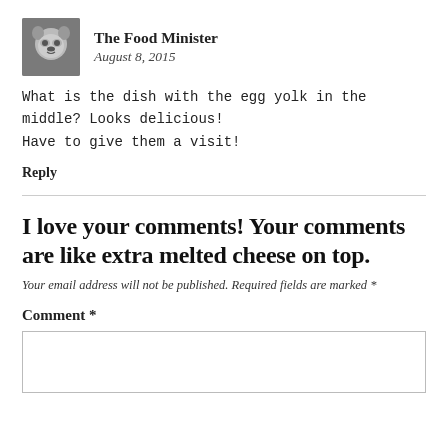[Figure (photo): Avatar photo of a small dog/raccoon-like animal]
The Food Minister
August 8, 2015
What is the dish with the egg yolk in the middle? Looks delicious! Have to give them a visit!
Reply
I love your comments! Your comments are like extra melted cheese on top.
Your email address will not be published. Required fields are marked *
Comment *